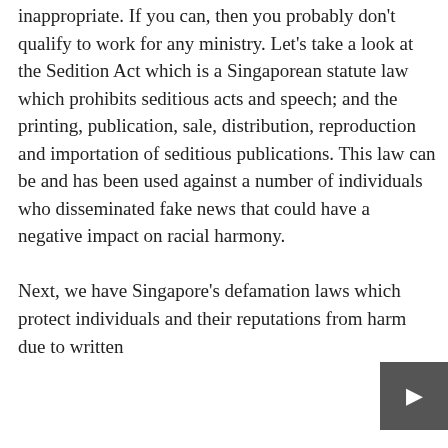inappropriate. If you can, then you probably don't qualify to work for any ministry. Let's take a look at the Sedition Act which is a Singaporean statute law which prohibits seditious acts and speech; and the printing, publication, sale, distribution, reproduction and importation of seditious publications. This law can be and has been used against a number of individuals who disseminated fake news that could have a negative impact on racial harmony.

Next, we have Singapore's defamation laws which protect individuals and their reputations from harm due to written